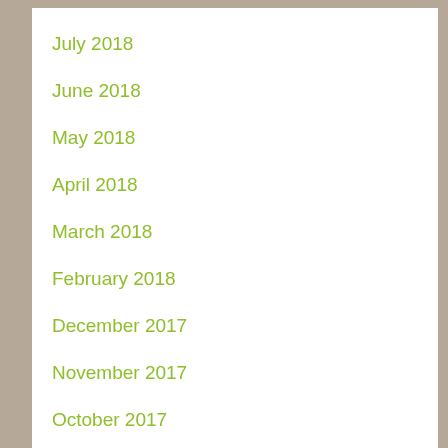July 2018
June 2018
May 2018
April 2018
March 2018
February 2018
December 2017
November 2017
October 2017
September 2017
August 2017
July 2017